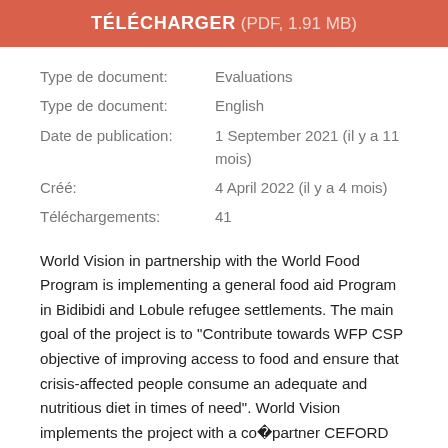TÉLÉCHARGER  (PDF, 1.91 MB)
Type de document:   Evaluations
Type de document:   English
Date de publication:   1 September 2021 (il y a 11 mois)
Créé:   4 April 2022 (il y a 4 mois)
Téléchargements:   41
World Vision in partnership with the World Food Program is implementing a general food aid Program in Bidibidi and Lobule refugee settlements. The main goal of the project is to “Contribute towards WFP CSP objective of improving access to food and ensure that crisis-affected people consume an adequate and nutritious diet in times of need”. World Vision implements the project with a co�partner CEFORD and the partnership is aimed at building capacities of local partners to deliver on a government-led Food distribution. The PDM survey helps World Vision to assess aid recipients’ access to, use of, and satisfaction